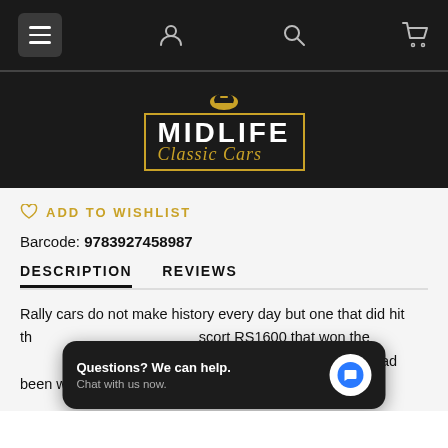Midlife Classic Cars navigation bar with hamburger menu, user, search, and cart icons
[Figure (logo): Midlife Classic Cars logo — white MIDLIFE text with Classic Cars in gold italic script, gold border, helmet icon on top, on dark background]
♡ ADD TO WISHLIST
Barcode: 9783927458987
DESCRIPTION    REVIEWS
Rally cars do not make history every day but one that did hit th...scort RS1600 that won the ...y in 1972. For 20 years, the Safari had been won by drivers from ...
Questions? We can help. Chat with us now.